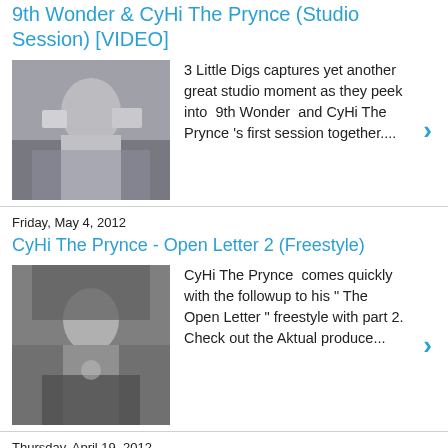9th Wonder & CyHi The Prynce (Studio Session) [VIDEO]
[Figure (photo): Photo of a man in a music studio setting, wearing a white hat and white outfit]
3 Little Digs captures yet another great studio moment as they peek into  9th Wonder  and CyHi The Prynce 's first session together....
Friday, May 4, 2012
CyHi The Prynce - Open Letter 2 (Freestyle)
[Figure (photo): Photo of CyHi The Prynce wearing a black cap and necklaces, in front of a graffiti wall]
CyHi The Prynce  comes quickly with the followup to his " The Open Letter " freestyle with part 2. Check out the Aktual produce...
Thursday, April 19, 2012
CyHi The Prynce - Open Letter [Music Video]